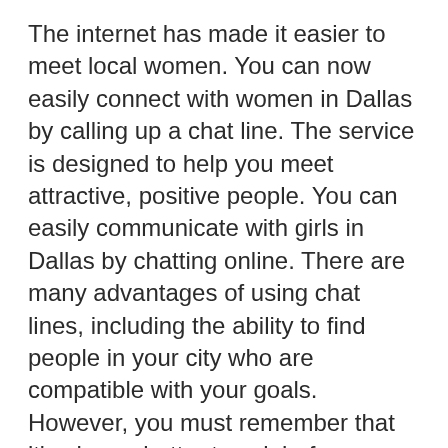The internet has made it easier to meet local women. You can now easily connect with women in Dallas by calling up a chat line. The service is designed to help you meet attractive, positive people. You can easily communicate with girls in Dallas by chatting online. There are many advantages of using chat lines, including the ability to find people in your city who are compatible with your goals. However, you must remember that it's always better to ask before you commit.
The first advantage of chatting with Dallas girls on the internet is the lack of stigma. Unlike phone lines, you can easily communicate with these women and build a network. If you are looking for a serious relationship, you should start by asking them